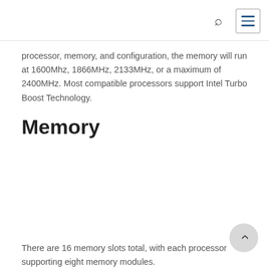processor, memory, and configuration, the memory will run at 1600Mhz, 1866MHz, 2133MHz, or a maximum of 2400MHz. Most compatible processors support Intel Turbo Boost Technology.
Memory
There are 16 memory slots total, with each processor supporting eight memory modules.